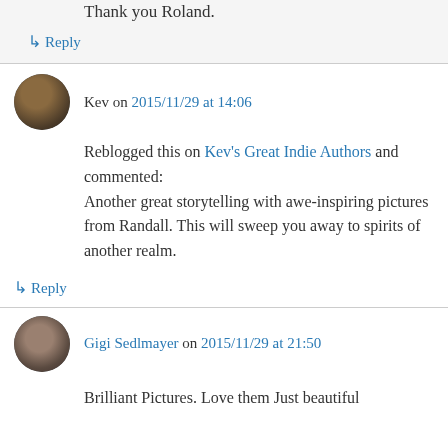Thank you Roland.
↳ Reply
Kev on 2015/11/29 at 14:06
Reblogged this on Kev's Great Indie Authors and commented: Another great storytelling with awe-inspiring pictures from Randall. This will sweep you away to spirits of another realm.
↳ Reply
Gigi Sedlmayer on 2015/11/29 at 21:50
Brilliant Pictures. Love them Just beautiful